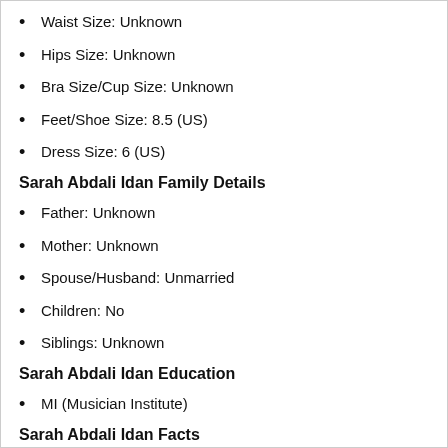Waist Size: Unknown
Hips Size: Unknown
Bra Size/Cup Size: Unknown
Feet/Shoe Size: 8.5 (US)
Dress Size: 6 (US)
Sarah Abdali Idan Family Details
Father: Unknown
Mother: Unknown
Spouse/Husband: Unmarried
Children: No
Siblings: Unknown
Sarah Abdali Idan Education
MI (Musician Institute)
Sarah Abdali Idan Facts
She was born and raised in Baghdad.